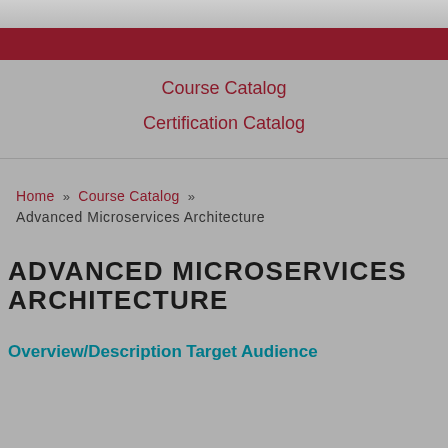[Figure (photo): Hero image at top of page showing a building or campus with dark red/crimson banner overlay]
Course Catalog
Certification Catalog
Home » Course Catalog » Advanced Microservices Architecture
ADVANCED MICROSERVICES ARCHITECTURE
Overview/Description
Target Audience